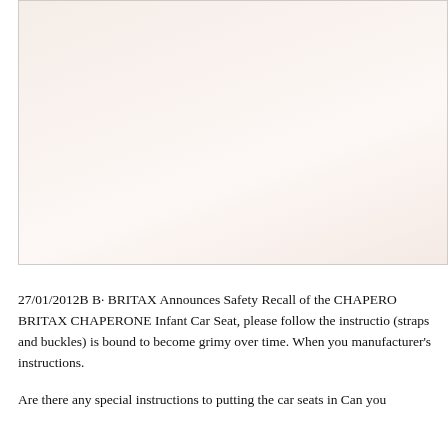[Figure (photo): A faded, pinkish-beige gradient image placeholder, likely a photograph that did not fully render. The image appears as a soft gradient from light peach at the edges to near-white in the center, enclosed in a bordered box.]
27/01/2012B B· BRITAX Announces Safety Recall of the CHAPERO BRITAX CHAPERONE Infant Car Seat, please follow the instructio (straps and buckles) is bound to become grimy over time. When you manufacturer's instructions.
Are there any special instructions to putting the car seats in Can you